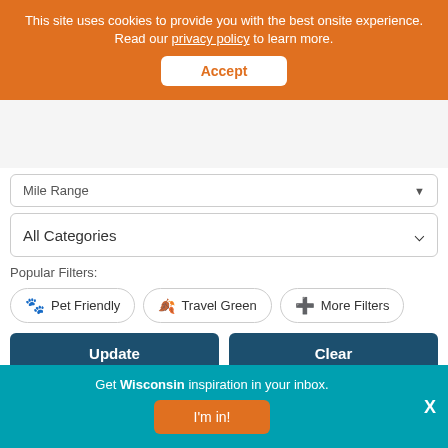This site uses cookies to provide you with the best onsite experience. Read our privacy policy to learn more. Accept
Mile Range
All Categories
Popular Filters:
Pet Friendly
Travel Green
More Filters
Update
Clear
Viewing 6 Results Per Page
(4) Search Results for: , Baraboo
Get Wisconsin inspiration in your inbox. I'm in! X